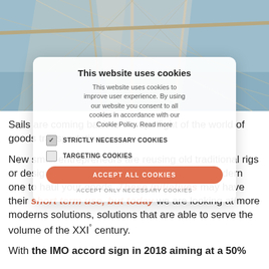architects
[Figure (photo): Photograph of tall ship masts and rigging against a blue sky, viewed from below]
[Figure (screenshot): Cookie consent modal overlay reading: This website uses cookies. This website uses cookies to improve user experience. By using our website you consent to all cookies in accordance with our Cookie Policy. Read more. STRICTLY NECESSARY COOKIES (checked). TARGETING COOKIES (unchecked). ACCEPT ALL COOKIES button. ACCEPT ONLY NECESSARY COOKIES link.]
Sails are coming back to the spotlight of the world of goods transportation.
New small entrepreneurs are reusing old traditional rigs or designing entirely new greener and more modern one to haul your goods. These initiatives may have their short term use, but today we are looking at more moderns solutions, solutions that are able to serve the volume of the XXI° century.
With the IMO accord sign in 2018 aiming at a 50%